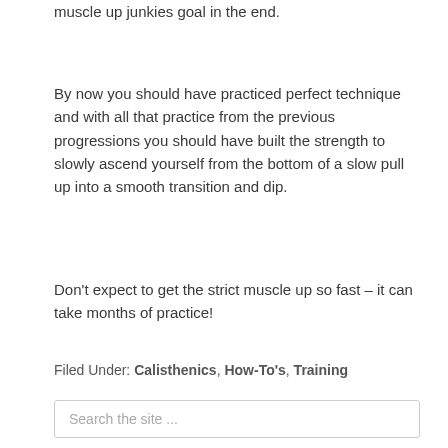muscle up junkies goal in the end.
By now you should have practiced perfect technique and with all that practice from the previous progressions you should have built the strength to slowly ascend yourself from the bottom of a slow pull up into a smooth transition and dip.
Don't expect to get the strict muscle up so fast – it can take months of practice!
Filed Under: Calisthenics, How-To's, Training
Search the site ...